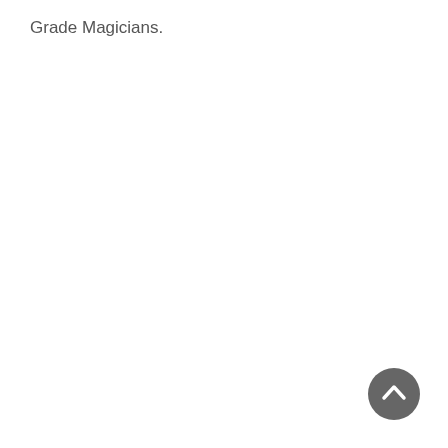Grade Magicians.
[Figure (other): A dark gray circular button with an upward-pointing chevron/arrow icon, positioned in the bottom-right area of the page.]